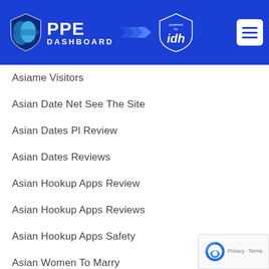PPE DASHBOARD powered by idh
Asiame Visitors
Asian Date Net See The Site
Asian Dates Pl Review
Asian Dates Reviews
Asian Hookup Apps Review
Asian Hookup Apps Reviews
Asian Hookup Apps Safety
Asian Women To Marry
Asiandate Incontri